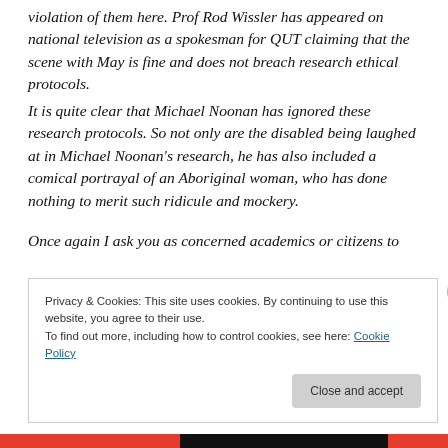violation of them here. Prof Rod Wissler has appeared on national television as a spokesman for QUT claiming that the scene with May is fine and does not breach research ethical protocols. It is quite clear that Michael Noonan has ignored these research protocols. So not only are the disabled being laughed at in Michael Noonan's research, he has also included a comical portrayal of an Aboriginal woman, who has done nothing to merit such ridicule and mockery.

Once again I ask you as concerned academics or citizens to
Privacy & Cookies: This site uses cookies. By continuing to use this website, you agree to their use.
To find out more, including how to control cookies, see here: Cookie Policy